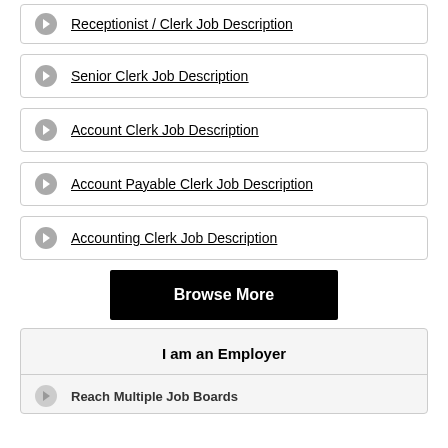Receptionist / Clerk Job Description
Senior Clerk Job Description
Account Clerk Job Description
Account Payable Clerk Job Description
Accounting Clerk Job Description
Browse More
I am an Employer
Reach Multiple Job Boards